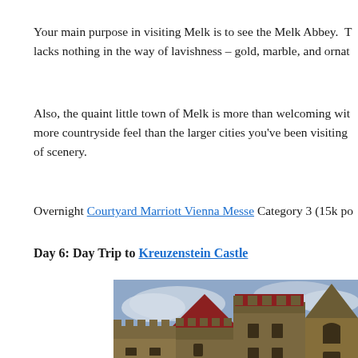Your main purpose in visiting Melk is to see the Melk Abbey. T lacks nothing in the way of lavishness – gold, marble, and ornat
Also, the quaint little town of Melk is more than welcoming wit more countryside feel than the larger cities you've been visiting of scenery.
Overnight Courtyard Marriott Vienna Messe Category 3 (15k po
Day 6: Day Trip to Kreuzenstein Castle
[Figure (photo): Photo of Kreuzenstein Castle showing stone towers with red roofs against a cloudy sky]